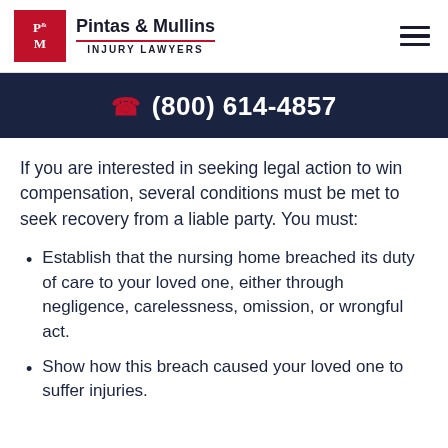[Figure (logo): Pintas & Mullins Injury Lawyers logo with red P&M icon and firm name]
(800) 614-4857
If you are interested in seeking legal action to win compensation, several conditions must be met to seek recovery from a liable party. You must:
Establish that the nursing home breached its duty of care to your loved one, either through negligence, carelessness, omission, or wrongful act.
Show how this breach caused your loved one to suffer injuries.